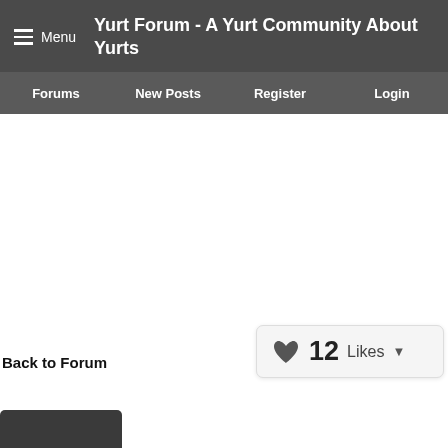Menu  Yurt Forum - A Yurt Community About Yurts
Forums  New Posts  Register  Login
Back to Forum
[Figure (infographic): Likes widget showing a heart icon with the number 12 and a 'Likes' dropdown arrow]
[Figure (other): Dark button at bottom left, partially visible]